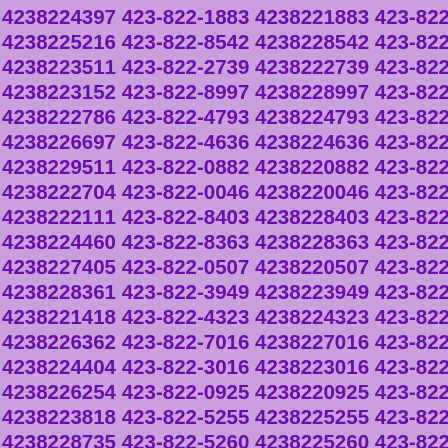4238224397 423-822-1883 4238221883 423-822-5216 4238225216 423-822-8542 4238228542 423-822-3511 4238223511 423-822-2739 4238222739 423-822-3152 4238223152 423-822-8997 4238228997 423-822-2786 4238222786 423-822-4793 4238224793 423-822-6697 4238226697 423-822-4636 4238224636 423-822-9511 4238229511 423-822-0882 4238220882 423-822-2704 4238222704 423-822-0046 4238220046 423-822-2111 4238222111 423-822-8403 4238228403 423-822-4460 4238224460 423-822-8363 4238228363 423-822-7405 4238227405 423-822-0507 4238220507 423-822-8361 4238228361 423-822-3949 4238223949 423-822-1418 4238221418 423-822-4323 4238224323 423-822-6362 4238226362 423-822-7016 4238227016 423-822-4404 4238224404 423-822-3016 4238223016 423-822-6254 4238226254 423-822-0925 4238220925 423-822-3818 4238223818 423-822-5255 4238225255 423-822-8735 4238228735 423-822-5260 4238225260 423-822-3960 4238223960 423-822-4978 4238224978 423-822-7007 4238227007 423-822-0125 4238220125 423-822-4984 4238224984 423-822-3984 4238223984 423-822-